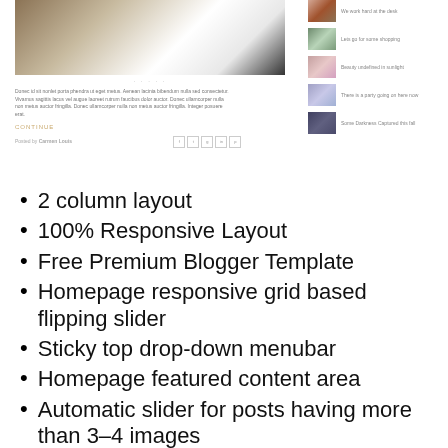[Figure (screenshot): Screenshot of a blog website with a 2-column layout showing a main article area with a photo, text excerpt, continue link, posted by line with social icons, and a right sidebar with 5 thumbnail images and captions.]
2 column layout
100% Responsive Layout
Free Premium Blogger Template
Homepage responsive grid based flipping slider
Sticky top drop-down menubar
Homepage featured content area
Automatic slider for posts having more than 3–4 images